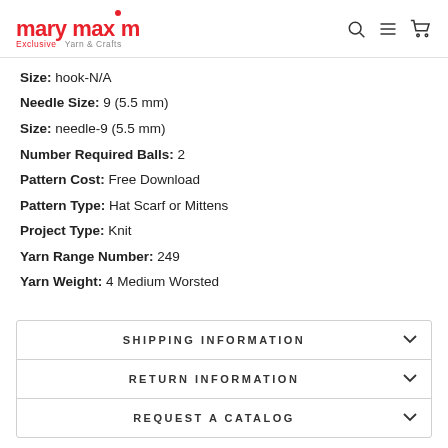mary maxim — Exclusive Yarn & Crafts
Size: hook-N/A
Needle Size: 9 (5.5 mm)
Size: needle-9 (5.5 mm)
Number Required Balls: 2
Pattern Cost: Free Download
Pattern Type: Hat Scarf or Mittens
Project Type: Knit
Yarn Range Number: 249
Yarn Weight: 4 Medium Worsted
SHIPPING INFORMATION
RETURN INFORMATION
REQUEST A CATALOG